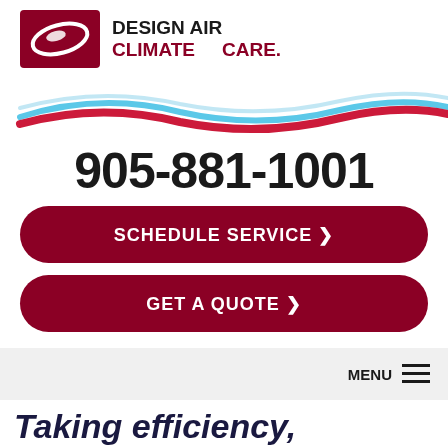[Figure (logo): Design Air ClimateCare logo with swoosh graphic and wave decoration]
905-881-1001
SCHEDULE SERVICE ❯
GET A QUOTE ❯
MENU ≡
Taking efficiency,